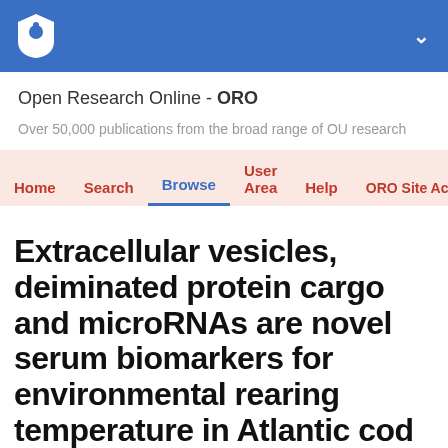Open Research Online - ORO (university logo header bar)
Open Research Online - ORO
Over 50,000 publications from the broad range of OU research
Home  Search  Browse  User Area  Help  ORO Site Accessibility
Extracellular vesicles, deiminated protein cargo and microRNAs are novel serum biomarkers for environmental rearing temperature in Atlantic cod